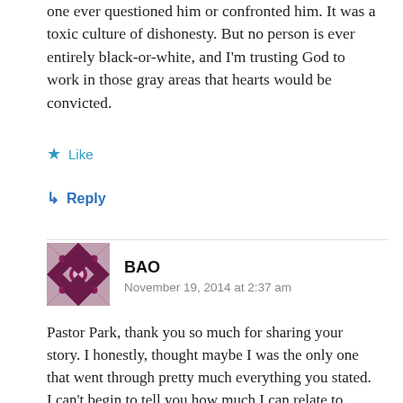one ever questioned him or confronted him. It was a toxic culture of dishonesty. But no person is ever entirely black-or-white, and I'm trusting God to work in those gray areas that hearts would be convicted.
★ Like
↳ Reply
BAO
November 19, 2014 at 2:37 am
Pastor Park, thank you so much for sharing your story. I honestly, thought maybe I was the only one that went through pretty much everything you stated. I can't begin to tell you how much I can relate to everything you have just said in this post from my past ministry experience and like you, it breaks my heart. I'm still walking in my healing